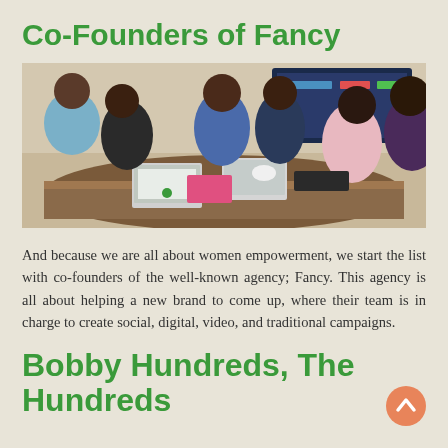Co-Founders of Fancy
[Figure (photo): Group of women sitting around a conference table with laptops, having a meeting in a boardroom setting.]
And because we are all about women empowerment, we start the list with co-founders of the well-known agency; Fancy. This agency is all about helping a new brand to come up, where their team is in charge to create social, digital, video, and traditional campaigns.
Bobby Hundreds, The Hundreds